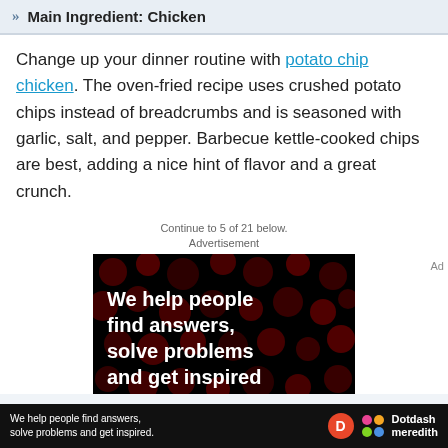Main Ingredient: Chicken
Change up your dinner routine with potato chip chicken. The oven-fried recipe uses crushed potato chips instead of breadcrumbs and is seasoned with garlic, salt, and pepper. Barbecue kettle-cooked chips are best, adding a nice hint of flavor and a great crunch.
Continue to 5 of 21 below.
Advertisement
[Figure (photo): Advertisement for Dotdash Meredith showing text 'We help people find answers, solve problems and get inspired' on a dark background with red bokeh dots]
We help people find answers, solve problems and get inspired. Dotdash meredith